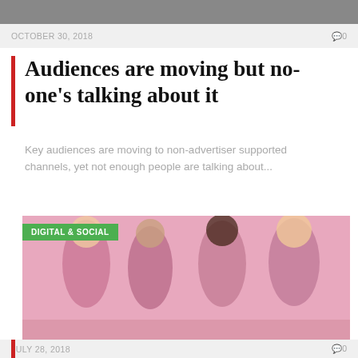[Figure (photo): Partial top image cropped at page top]
OCTOBER 30, 2018   0
Audiences are moving but no-one's talking about it
Key audiences are moving to non-advertiser supported channels, yet not enough people are talking about...
[Figure (photo): Four young women posing on a pink background, labeled DIGITAL & SOCIAL]
DIGITAL & SOCIAL
JULY 28, 2018   0